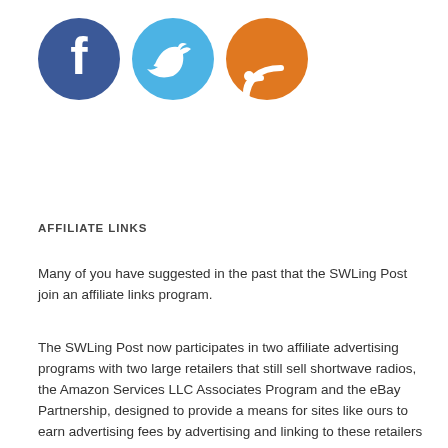[Figure (illustration): Three social media icons in circles: Facebook (dark blue), Twitter (light blue), RSS feed (orange)]
AFFILIATE LINKS
Many of you have suggested in the past that the SWLing Post join an affiliate links program.
The SWLing Post now participates in two affiliate advertising programs with two large retailers that still sell shortwave radios, the Amazon Services LLC Associates Program and the eBay Partnership, designed to provide a means for sites like ours to earn advertising fees by advertising and linking to these retailers of radio products. Many of our links now function as affiliate links. This means that by clicking on these links, a small percentage of the purchase price for goods you purchase from these sellers will help support our site's running costs. We hope you understand